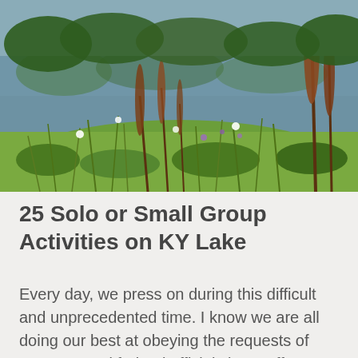[Figure (photo): Outdoor nature photo showing wildflowers, tall grasses with reddish-brown seed heads, green vegetation in the foreground, and a calm lake or river with trees reflected in the background on a sunny day.]
25 Solo or Small Group Activities on KY Lake
Every day, we press on during this difficult and unprecedented time.  I know we are all doing our best at obeying the requests of our state and federal officials in an effort to protect those who